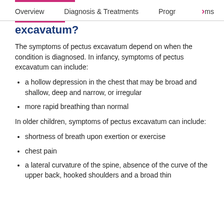Overview   Diagnosis & Treatments   Programs
excavatum?
The symptoms of pectus excavatum depend on when the condition is diagnosed. In infancy, symptoms of pectus excavatum can include:
a hollow depression in the chest that may be broad and shallow, deep and narrow, or irregular
more rapid breathing than normal
In older children, symptoms of pectus excavatum can include:
shortness of breath upon exertion or exercise
chest pain
a lateral curvature of the spine, absence of the curve of the upper back, hooked shoulders and a broad thin chest